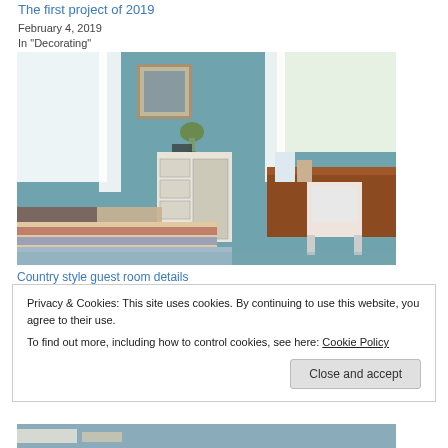The first project of 2019
February 4, 2019
In "Decorating"
[Figure (photo): Bedroom interior with teal/blue walls, a bed with striped quilt, white dresser, wooden desk with chair, framed artwork on wall, and white curtains by windows.]
Country style guest room details
Privacy & Cookies: This site uses cookies. By continuing to use this website, you agree to their use.
To find out more, including how to control cookies, see here: Cookie Policy
Close and accept
[Figure (photo): Partial view of another room photo at the bottom of the page.]